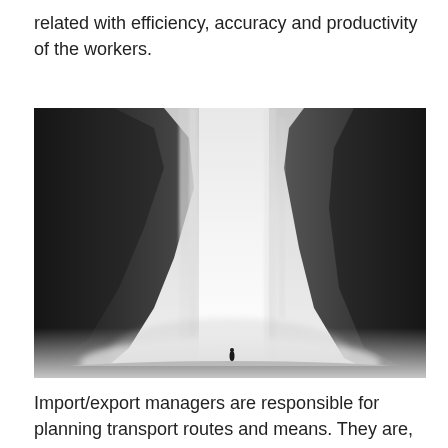related with efficiency, accuracy and productivity of the workers.
[Figure (photo): Black and white photograph of a large waterfall (likely Skógafoss in Iceland) seen from below, with a tiny human figure standing at its base, flanked by dark rocky cliffs on either side and mist at the bottom.]
Import/export managers are responsible for planning transport routes and means. They are,